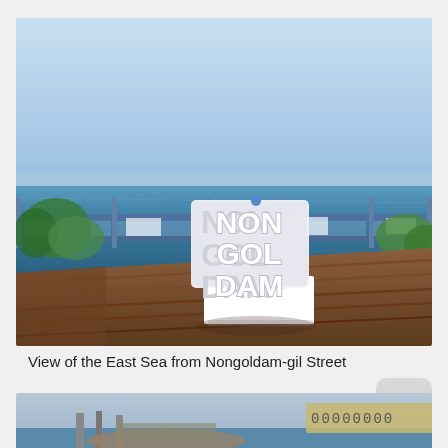[Figure (photo): Outdoor rooftop deck overlooking the East Sea (ocean), with a large white 3D letter sculpture spelling NON GOL DAM on a white pedestal. The deck has wooden flooring and glass railings with metal posts. Trees and Korean text inscriptions visible along the railing. The sky is clear and blue.]
View of the East Sea from Nongoldam-gil Street
[Figure (photo): Partial view of a second photo showing what appears to be a harbor or coastal scene, with a sign partially visible reading numbers/text, and a boat or fishing vessel.]